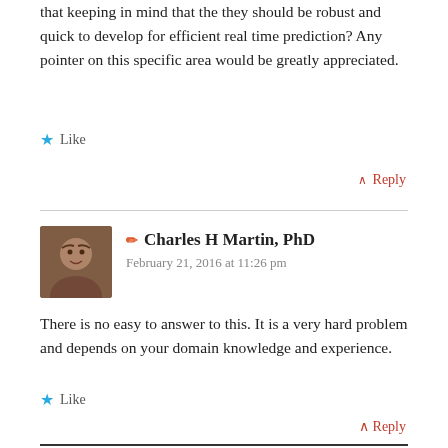that keeping in mind that the they should be robust and quick to develop for efficient real time prediction? Any pointer on this specific area would be greatly appreciated.
★ Like
↑ Reply
Charles H Martin, PhD
February 21, 2016 at 11:26 pm
There is no easy to answer to this. It is a very hard problem and depends on your domain knowledge and experience.
★ Like
↑ Reply